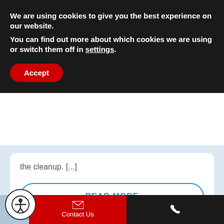We are using cookies to give you the best experience on our website.
You can find out more about which cookies we are using or switch them off in settings.
Accept
the cleanup. [...]
READ MORE
[Figure (photo): Man looking down at work, with Undercut Junk Removal logo visible in background]
Contact Us